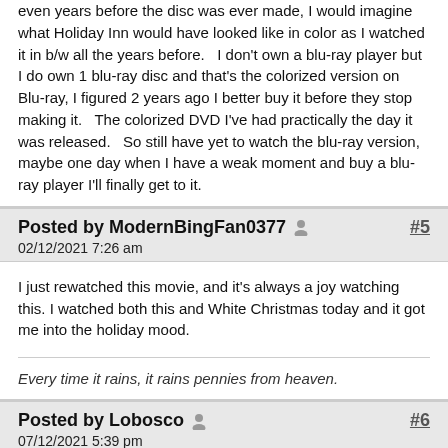even years before the disc was ever made, I would imagine what Holiday Inn would have looked like in color as I watched it in b/w all the years before.   I don't own a blu-ray player but I do own 1 blu-ray disc and that's the colorized version on Blu-ray, I figured 2 years ago I better buy it before they stop making it.   The colorized DVD I've had practically the day it was released.   So still have yet to watch the blu-ray version, maybe one day when I have a weak moment and buy a blu-ray player I'll finally get to it.
Posted by ModernBingFan0377  #5  02/12/2021 7:26 am
I just rewatched this movie, and it's always a joy watching this. I watched both this and White Christmas today and it got me into the holiday mood.
Every time it rains, it rains pennies from heaven.
Posted by Lobosco  #6  07/12/2021 5:39 pm
I will be watching Holiday Inn this weekend. There's really not much wrong with this movie, if anything. It's in my top five of favorite Bing films too.